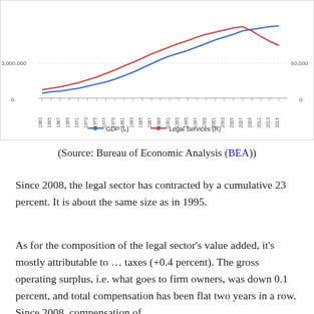[Figure (continuous-plot): Line chart showing GDP (left axis, blue line) and Legal Services (right axis, red line) from 1963 to 2015. Left axis shows values up to 3,000,000; right axis shows values up to 60,000. Both lines trend upward until around 2008 then the red (Legal Services) line declines.]
(Source: Bureau of Economic Analysis (BEA))
Since 2008, the legal sector has contracted by a cumulative 23 percent. It is about the same size as in 1995.
As for the composition of the legal sector's value added, it's mostly attributable to … taxes (+0.4 percent). The gross operating surplus, i.e. what goes to firm owners, was down 0.1 percent, and total compensation has been flat two years in a row. Since 2008, compensation of